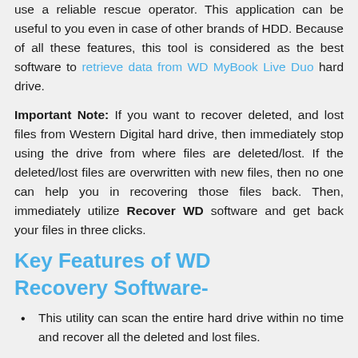use a reliable rescue operator. This application can be useful to you even in case of other brands of HDD. Because of all these features, this tool is considered as the best software to retrieve data from WD MyBook Live Duo hard drive.
Important Note: If you want to recover deleted, and lost files from Western Digital hard drive, then immediately stop using the drive from where files are deleted/lost. If the deleted/lost files are overwritten with new files, then no one can help you in recovering those files back. Then, immediately utilize Recover WD software and get back your files in three clicks.
Key Features of WD Recovery Software-
This utility can scan the entire hard drive within no time and recover all the deleted and lost files.